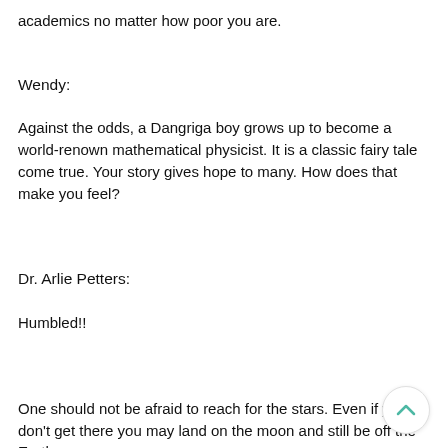academics no matter how poor you are.
Wendy:
Against the odds, a Dangriga boy grows up to become a world-renown mathematical physicist. It is a classic fairy tale come true. Your story gives hope to many. How does that make you feel?
Dr. Arlie Petters:
Humbled!!
One should not be afraid to reach for the stars. Even if you don't get there you may land on the moon and still be off the Earth.